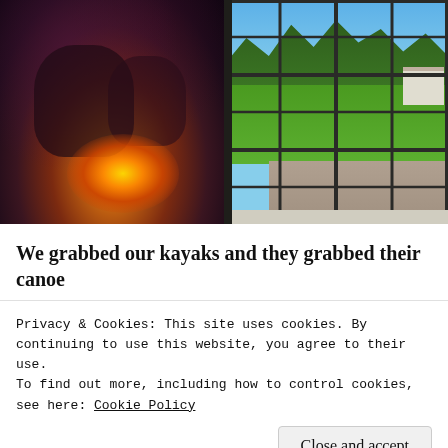[Figure (photo): Left photo: Two people gathered around a glowing campfire at night, dark warm tones with bright orange/yellow flame light. Right photo: View through a multi-pane window looking out at a green lawn, garden, trees, and blue sky.]
We grabbed our kayaks and they grabbed their canoe
[partial text line below, partially obscured]
Privacy & Cookies: This site uses cookies. By continuing to use this website, you agree to their use.
To find out more, including how to control cookies, see here: Cookie Policy
Close and accept